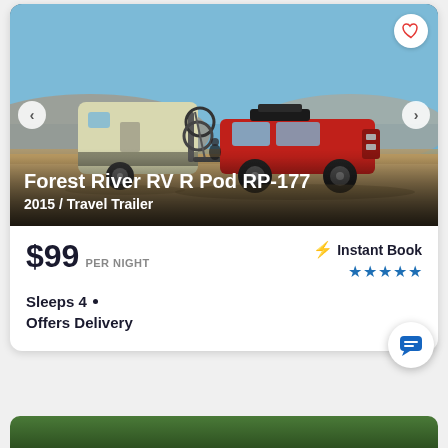[Figure (photo): Photo of a travel trailer (Forest River RV R Pod RP-177) being towed by a red Jeep Grand Cherokee on a dirt/desert road, with bicycles mounted on the rear of the trailer. Navigation arrows and a heart/favorite button overlay the image.]
Forest River RV R Pod RP-177
2015 / Travel Trailer
$99 PER NIGHT
⚡ Instant Book
★★★★★
Sleeps 4 · Offers Delivery